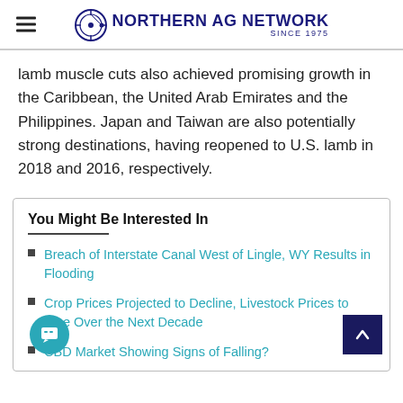Northern AG Network Since 1975
lamb muscle cuts also achieved promising growth in the Caribbean, the United Arab Emirates and the Philippines. Japan and Taiwan are also potentially strong destinations, having reopened to U.S. lamb in 2018 and 2016, respectively.
You Might Be Interested In
Breach of Interstate Canal West of Lingle, WY Results in Flooding
Crop Prices Projected to Decline, Livestock Prices to Rise Over the Next Decade
CBD Market Showing Signs of Falling?